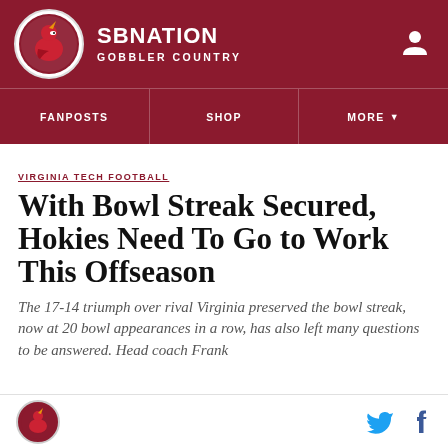SB NATION — GOBBLER COUNTRY
FANPOSTS | SHOP | MORE
VIRGINIA TECH FOOTBALL
With Bowl Streak Secured, Hokies Need To Go to Work This Offseason
The 17-14 triumph over rival Virginia preserved the bowl streak, now at 20 bowl appearances in a row, has also left many questions to be answered. Head coach Frank
Gobbler Country logo, Twitter and Facebook icons